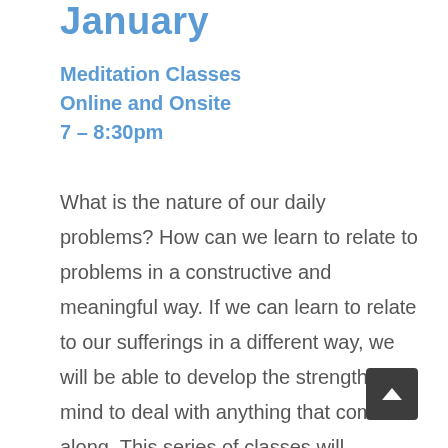January
Meditation Classes
Online and Onsite
7 – 8:30pm
What is the nature of our daily problems? How can we learn to relate to problems in a constructive and meaningful way. If we can learn to relate to our sufferings in a different way, we will be able to develop the strength of mind to deal with anything that comes along. This series of classes will investigate Buddha's teachings on the nature of suffering and how we can overcome suffering with wisdom. By transforming our thoughts about suffering and